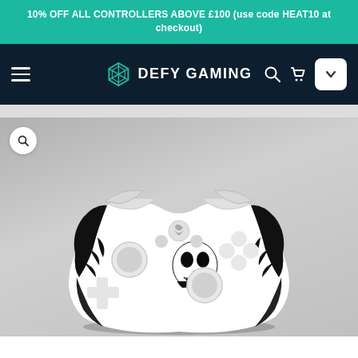10% OFF ALL CONTROLLERS ABOVE £100 (use code HEAT10 at checkout)
[Figure (screenshot): Defy Gaming website navigation bar with hamburger menu, logo with shield icon, search icon, cart icon, and dropdown button on dark navy background]
[Figure (photo): Custom Xbox controller with black and white skull/demon graphic design on white base, displayed on grey background with zoom button in top left corner]